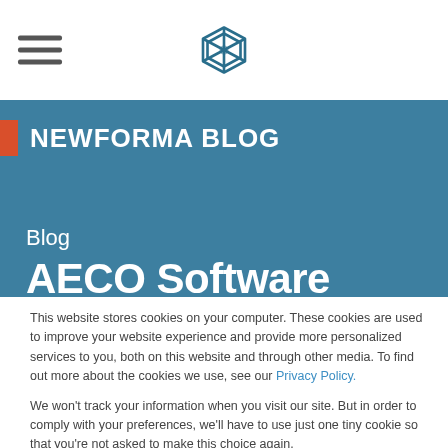NEWFORMA BLOG — website header with hamburger menu and logo
NEWFORMA BLOG
Blog
AECO Software
This website stores cookies on your computer. These cookies are used to improve your website experience and provide more personalized services to you, both on this website and through other media. To find out more about the cookies we use, see our Privacy Policy.
We won't track your information when you visit our site. But in order to comply with your preferences, we'll have to use just one tiny cookie so that you're not asked to make this choice again.